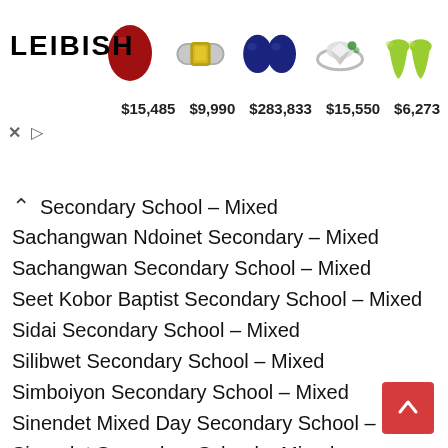[Figure (other): Leibish jewelry advertisement banner showing gemstones and prices: ruby ($15,485), yellow ring ($9,990), blue sapphires ($283,833), diamond ring ($15,550), peridot drops ($6,273)]
Secondary School – Mixed
Sachangwan Ndoinet Secondary – Mixed
Sachangwan Secondary School – Mixed
Seet Kobor Baptist Secondary School – Mixed
Sidai Secondary School – Mixed
Silibwet Secondary School – Mixed
Simboiyon Secondary School – Mixed
Sinendet Mixed Day Secondary School – Mixed
Sinendet Secondary School – Mixed
Sirikwa Secondary School – Mixed
Sitoito Secondary School – Mixed
Siwot Girls Secondary School – Girls
Sokoro Girls Secondary School– Girls
Solai Kale Secondary– Mixed
St John's Secondary School (Bahati) – Mixed
St Joseph Kari lanet Secondary School– Mixed